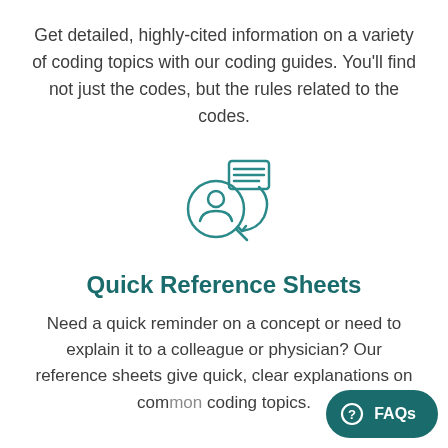Get detailed, highly-cited information on a variety of coding topics with our coding guides. You'll find not just the codes, but the rules related to the codes.
[Figure (illustration): Teal outline icon showing a person silhouette inside a magnifying glass circle, with a document/keyboard icon above-right and an arrow curving around, suggesting research or lookup.]
Quick Reference Sheets
Need a quick reminder on a concept or need to explain it to a colleague or physician? Our reference sheets give quick, clear explanations on common coding topics.